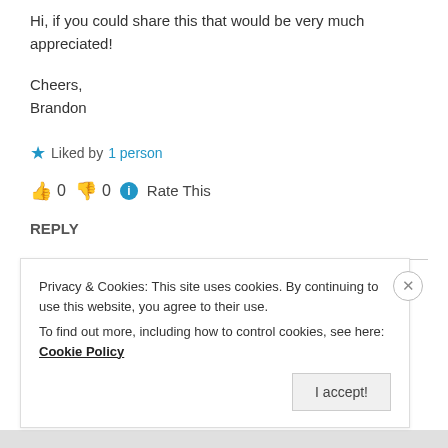Hi, if you could share this that would be very much appreciated!
Cheers,
Brandon
★ Liked by 1 person
👍 0 👎 0 ℹ Rate This
REPLY
Privacy & Cookies: This site uses cookies. By continuing to use this website, you agree to their use.
To find out more, including how to control cookies, see here: Cookie Policy
I accept!